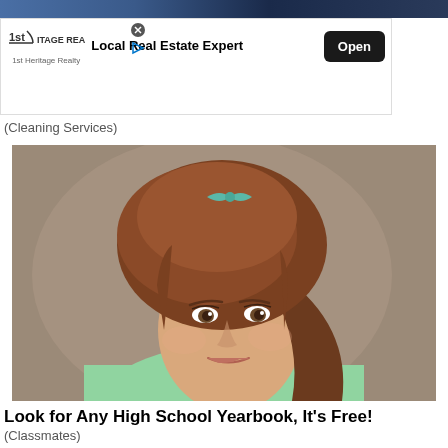[Figure (photo): Partial top strip showing dark blue/navy background image at the very top of the page]
[Figure (screenshot): Advertisement banner for 1st Heritage Realty showing logo, 'Local Real Estate Expert' text and an 'Open' button]
This is How to Clean a
House in 2022
(Cleaning Services)
[Figure (photo): Vintage colorized portrait photograph of a young woman with a tall bouffant hairstyle with a small teal bow, wearing a light green sweater, against a brown/mauve background. Likely a 1960s high school yearbook photo.]
Look for Any High School Yearbook, It's Free!
(Classmates)